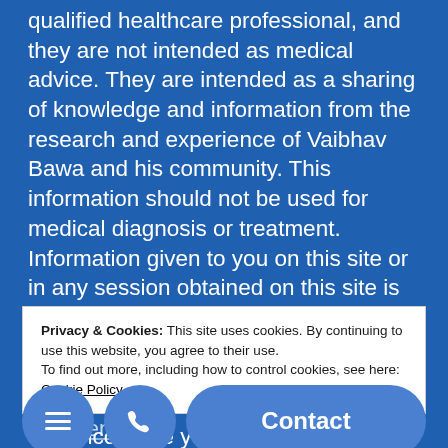qualified healthcare professional, and they are not intended as medical advice. They are intended as a sharing of knowledge and information from the research and experience of Vaibhav Bawa and his community. This information should not be used for medical diagnosis or treatment. Information given to you on this site or in any session obtained on this site is not intended to create any physician-patient relationship, nor should it be considered a replacement for consultation with a healthcare provider. We encourage you to make your own health care decisions based upon your research and in partnership with your choice of healthcare professional. See legal disclaimers. Emotional Freedom Disclaimer: Releasing trapped
Privacy & Cookies: This site uses cookies. By continuing to use this website, you agree to their use.
To find out more, including how to control cookies, see here: Cookie Policy
recognized as a valuable and effective complement to ... at a healthcare Dis...